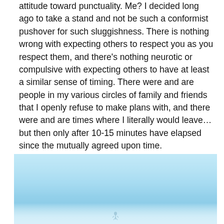attitude toward punctuality. Me? I decided long ago to take a stand and not be such a conformist pushover for such sluggishness. There is nothing wrong with expecting others to respect you as you respect them, and there's nothing neurotic or compulsive with expecting others to have at least a similar sense of timing. There were and are people in my various circles of family and friends that I openly refuse to make plans with, and there were and are times where I literally would leave…but then only after 10-15 minutes have elapsed since the mutually agreed upon time.
[Figure (photo): A light blue sky photograph, possibly outdoors with a hazy horizon. A small figure or silhouette is barely visible near the bottom center of the image.]